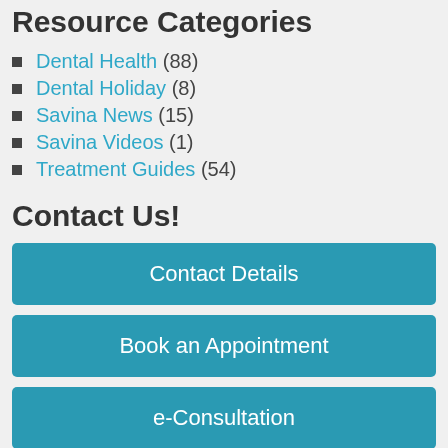Resource Categories
Dental Health (88)
Dental Holiday (8)
Savina News (15)
Savina Videos (1)
Treatment Guides (54)
Contact Us!
Contact Details
Book an Appointment
e-Consultation